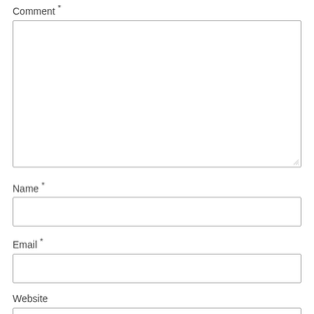Comment *
[Figure (screenshot): Large empty textarea input box for comment entry, with resize handle in bottom-right corner]
Name *
[Figure (screenshot): Single-line text input box for name]
Email *
[Figure (screenshot): Single-line text input box for email]
Website
[Figure (screenshot): Single-line text input box for website (partially visible)]